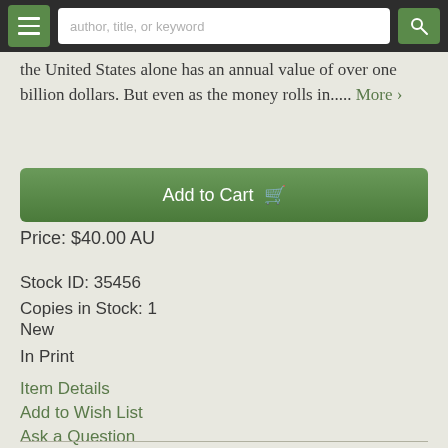author, title, or keyword
the United States alone has an annual value of over one billion dollars. But even as the money rolls in..... More ›
Add to Cart
Price: $40.00 AU
Stock ID: 35456
Copies in Stock: 1
New
In Print
Item Details
Add to Wish List
Ask a Question